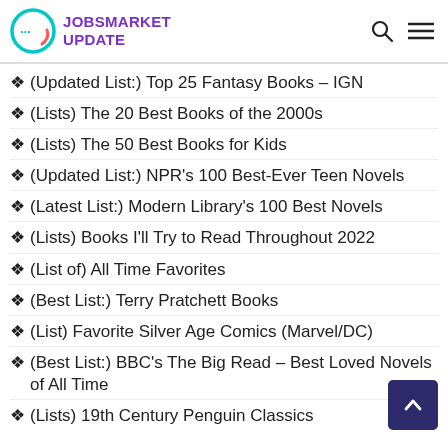JOBSMARKET UPDATE
❖ (Updated List:) Top 25 Fantasy Books – IGN
❖ (Lists) The 20 Best Books of the 2000s
❖ (Lists) The 50 Best Books for Kids
❖ (Updated List:) NPR's 100 Best-Ever Teen Novels
❖ (Latest List:) Modern Library's 100 Best Novels
❖ (Lists) Books I'll Try to Read Throughout 2022
❖ (List of) All Time Favorites
❖ (Best List:) Terry Pratchett Books
❖ (List) Favorite Silver Age Comics (Marvel/DC)
❖ (Best List:) BBC's The Big Read – Best Loved Novels of All Time
❖ (Lists) 19th Century Penguin Classics